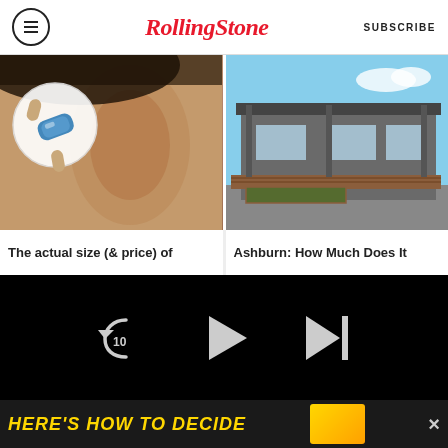RollingStone   SUBSCRIBE
[Figure (photo): Close-up of a human ear with a hearing aid being inserted; circular inset showing the small hearing aid device being held by fingers]
The actual size (& price) of
[Figure (photo): Exterior photo of a house in Ashburn with a wooden deck and garden beds]
Ashburn: How Much Does It
[Figure (screenshot): Video player with black background showing playback controls: rewind 10 seconds, play button, and skip-next button; progress bar showing 00:00 / 07:56; CC, grid, settings and fullscreen icons]
HERE'S HOW TO DECIDE